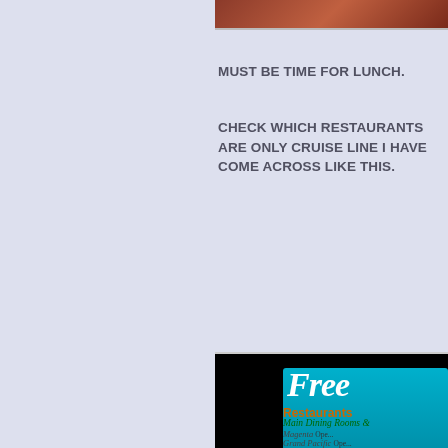[Figure (photo): Top portion of a photo, partially visible, showing reddish-brown tones at the top of the right panel]
MUST BE TIME FOR LUNCH.
CHECK WHICH RESTAURANTS ARE ONLY CRUISE LINE I HAVE COME ACROSS LIKE THIS.
[Figure (photo): Photo of a cruise ship restaurant information sign on a dark background. The sign shows 'Free' in white cursive text on a teal/blue background, then 'Restaurants' in orange bold text, 'Main Dining Rooms &' in green italic text, followed by a list: Magenta (Ope...), Grand Pacific (Ope...), Blue Lagoon (green status bar), Garden Café (white/empty status box)]